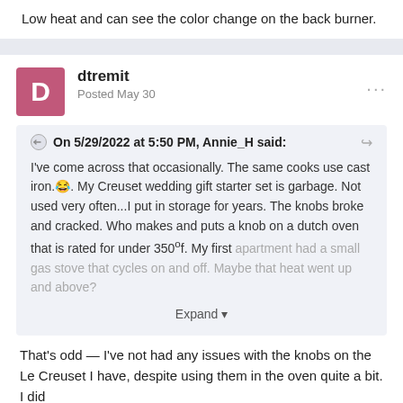Low heat and can see the color change on the back burner.
dtremit
Posted May 30
On 5/29/2022 at 5:50 PM, Annie_H said:
I've come across that occasionally. The same cooks use cast iron.😂. My Creuset wedding gift starter set is garbage. Not used very often...I put in storage for years. The knobs broke and cracked. Who makes and puts a knob on a dutch oven that is rated for under 350ºf. My first apartment had a small gas stove that cycles on and off. Maybe that heat went up and above?
Expand
That's odd — I've not had any issues with the knobs on the Le Creuset I have, despite using them in the oven quite a bit. I did